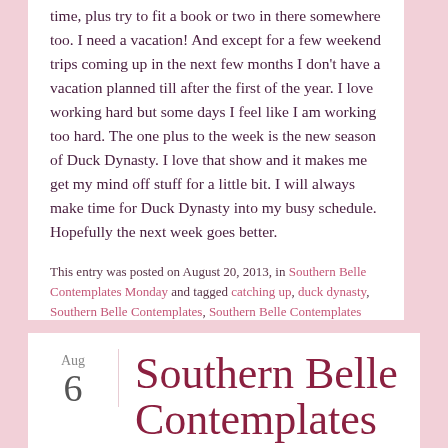time, plus try to fit a book or two in there somewhere too.  I need a vacation!  And except for a few weekend trips coming up in the next few months I don't have a vacation planned till after the first of the year.  I love working hard but some days I feel like I am working too hard.  The one plus to the week is the new season of Duck Dynasty.  I love that show and it makes me get my mind off stuff for a little bit.  I will always make time for Duck Dynasty into my busy schedule.  Hopefully the next week goes better.
This entry was posted on August 20, 2013, in Southern Belle Contemplates Monday and tagged catching up, duck dynasty, Southern Belle Contemplates, Southern Belle Contemplates Monday.
Leave a comment
[Figure (illustration): Decorative tilde/swirl divider between blog posts]
Aug 6
Southern Belle Contemplates Monday